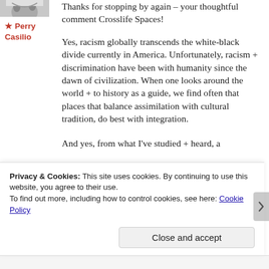[Figure (photo): Partial avatar photo showing an animal in snow]
★ Perry Casilio
Thanks for stopping by again – your thoughtful comment Crosslife Spaces!
Yes, racism globally transcends the white-black divide currently in America. Unfortunately, racism + discrimination have been with humanity since the dawn of civilization. When one looks around the world + to history as a guide, we find often that places that balance assimilation with cultural tradition, do best with integration.
And yes, from what I've studied + heard, a
Privacy & Cookies: This site uses cookies. By continuing to use this website, you agree to their use. To find out more, including how to control cookies, see here: Cookie Policy
Close and accept